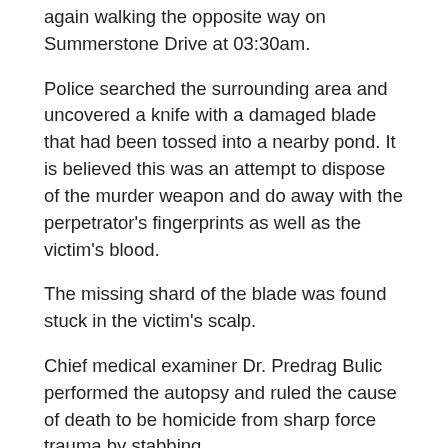again walking the opposite way on Summerstone Drive at 03:30am.
Police searched the surrounding area and uncovered a knife with a damaged blade that had been tossed into a nearby pond. It is believed this was an attempt to dispose of the murder weapon and do away with the perpetrator's fingerprints as well as the victim's blood.
The missing shard of the blade was found stuck in the victim's scalp.
Chief medical examiner Dr. Predrag Bulic performed the autopsy and ruled the cause of death to be homicide from sharp force trauma by stabbing.
The suspect, a 14-year-old boy who also attended Patriot Oaks Academy, was arrested the following day on May 10, 2021, on charges of second-degree murder for his involvement in the brutal slaying. He uploaded a picture